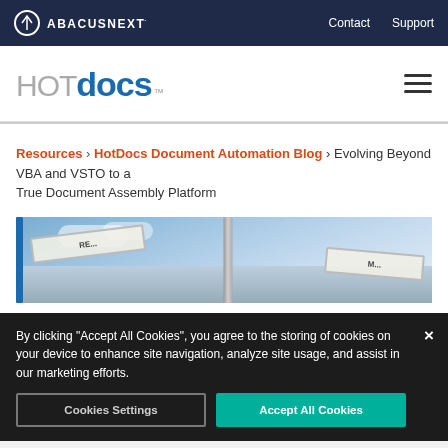ABACUSNEXT — Contact  Support
[Figure (logo): HotDocs logo with hamburger menu icon]
Resources › HotDocs Document Automation Blog › Evolving Beyond VBA and VSTO to a True Document Assembly Platform
[Figure (photo): Street sign photo with blue vertical bar on left side, sky and directional signs]
By clicking "Accept All Cookies", you agree to the storing of cookies on your device to enhance site navigation, analyze site usage, and assist in our marketing efforts.
Cookies Settings  Accept All Cookies